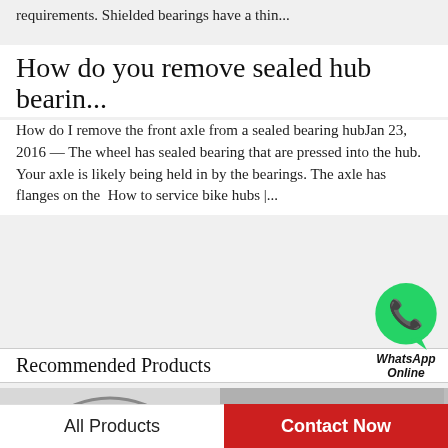requirements. Shielded bearings have a thin...
How do you remove sealed hub bearin...
How do I remove the front axle from a sealed bearing hubJan 23, 2016 — The wheel has sealed bearing that are pressed into the hub. Your axle is likely being held in by the bearings. The axle has flanges on the  How to service bike hubs |...
[Figure (logo): WhatsApp green chat bubble icon with label 'WhatsApp Online']
Recommended Products
[Figure (photo): Close-up of an open ball bearing (silver/chrome ring with steel balls visible)]
[Figure (photo): Multiple small black sealed ball bearings grouped together on a gray background]
All Products
Contact Now